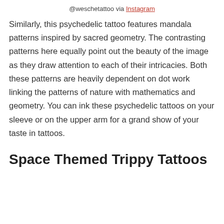@weschetattoo via Instagram
Similarly, this psychedelic tattoo features mandala patterns inspired by sacred geometry. The contrasting patterns here equally point out the beauty of the image as they draw attention to each of their intricacies. Both these patterns are heavily dependent on dot work linking the patterns of nature with mathematics and geometry. You can ink these psychedelic tattoos on your sleeve or on the upper arm for a grand show of your taste in tattoos.
Space Themed Trippy Tattoos